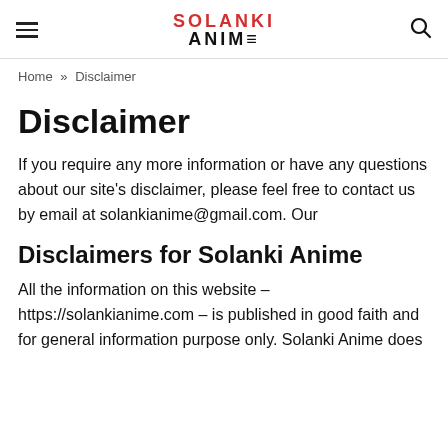SOLANKI ANIME
Home » Disclaimer
Disclaimer
If you require any more information or have any questions about our site's disclaimer, please feel free to contact us by email at solankianime@gmail.com. Our
Disclaimers for Solanki Anime
All the information on this website – https://solankianime.com – is published in good faith and for general information purpose only. Solanki Anime does